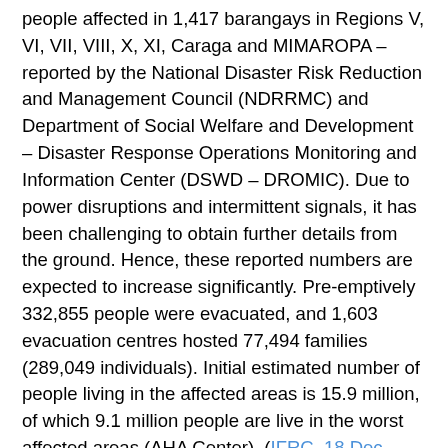people affected in 1,417 barangays in Regions V, VI, VII, VIII, X, XI, Caraga and MIMAROPA – reported by the National Disaster Risk Reduction and Management Council (NDRRMC) and Department of Social Welfare and Development – Disaster Response Operations Monitoring and Information Center (DSWD – DROMIC). Due to power disruptions and intermittent signals, it has been challenging to obtain further details from the ground. Hence, these reported numbers are expected to increase significantly. Pre-emptively 332,855 people were evacuated, and 1,603 evacuation centres hosted 77,494 families (289,049 individuals). Initial estimated number of people living in the affected areas is 15.9 million, of which 9.1 million people are live in the worst affected areas (AHA Center). (IFRC, 18 Dec 2021)[1].Alliance for Empowering Partnership (A4EP), an alliance of local and national organizations and allies from the global south, stands in solidarity with people of Philippines and all the local and national first responders who are on the ground and giving help their communities. The response and